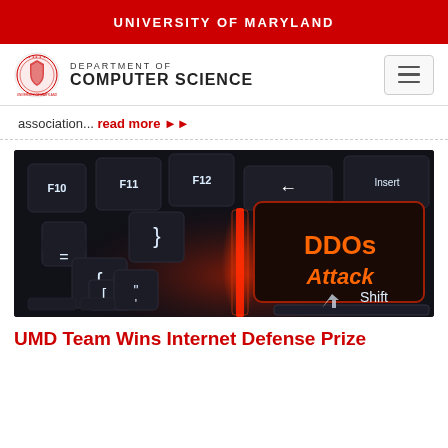UNIVERSITY OF MARYLAND
[Figure (logo): University of Maryland Department of Computer Science logo with circular seal and department name]
association... read more ▶▶
[Figure (photo): Close-up photo of a dark keyboard with a glowing red/orange key labeled 'DDOs Attack' and other keys visible including F10, F11, F12, Insert, Shift, and bracket/punctuation keys with white legends]
UMD Team Wins Internet Defense Prize